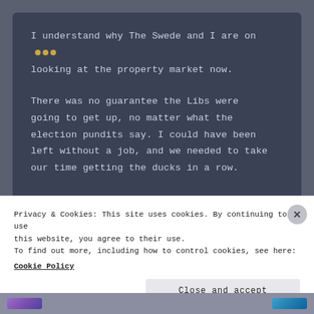I understand why The Swede and I are on looking at the property market now.
There was no guarantee the Libs were going to get up, no matter what the election pundits say. I could have been left without a job, and we needed to take our time getting the ducks in a row.
Privacy & Cookies: This site uses cookies. By continuing to use this website, you agree to their use.
To find out more, including how to control cookies, see here:
Cookie Policy
Close and accept